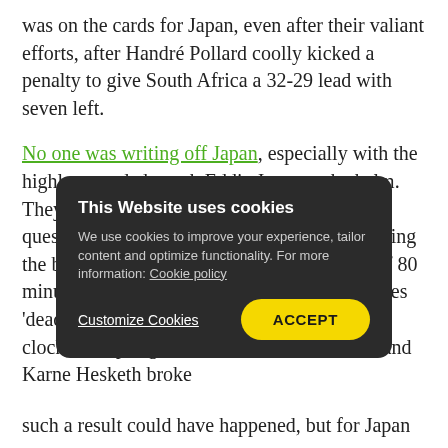was on the cards for Japan, even after their valiant efforts, after Handré Pollard coolly kicked a penalty to give South Africa a 32-29 lead with seven left.
No one was writing off Japan, especially with the highly regarded coach Eddie Jones at the helm. They huffed and puffed, constantly asking questions of the South African back line, keeping the ball alive as the klaxon sounded the end of 80 minutes – the game continues until the ball goes 'dead' in rugby union. With 84 minutes on the clock, the Springbok's resilience was broken and Karne Hesketh broke th... w... m...
T... such a result could have happened, but for Japan
[Figure (screenshot): Cookie consent overlay dialog with dark rounded rectangle background. Title: 'This Website uses cookies'. Body text: 'We use cookies to improve your experience, tailor content and optimize functionality. For more information: Cookie policy'. Buttons: 'Customize Cookies' (underlined text link) and 'ACCEPT' (yellow rounded button).]